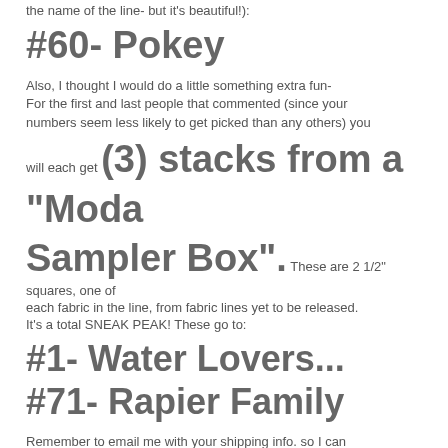the name of the line- but it's beautiful!):
#60- Pokey
Also, I thought I would do a little something extra fun- For the first and last people that commented (since your numbers seem less likely to get picked than any others) you will each get (3) stacks from a "Moda Sampler Box". These are 2 1/2" squares, one of each fabric in the line, from fabric lines yet to be released. It's a total SNEAK PEAK! These go to:
#1- Water Lovers...
#71- Rapier Family
Remember to email me with your shipping info. so I can send them out ASAP!
This was so much fun! I'm not trying to be cheesy, but honestly, I do love giving the best!